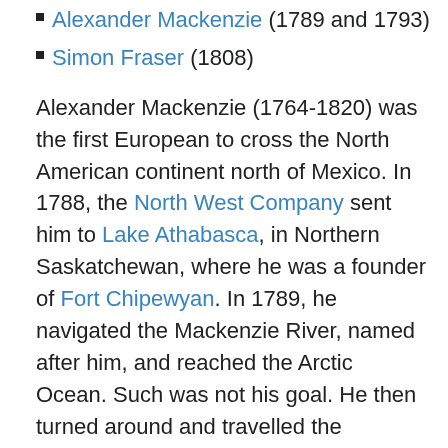Alexander Mackenzie (1789 and 1793)
Simon Fraser (1808)
Alexander Mackenzie (1764-1820) was the first European to cross the North American continent north of Mexico. In 1788, the North West Company sent him to Lake Athabasca, in Northern Saskatchewan, where he was a founder of Fort Chipewyan. In 1789, he navigated the Mackenzie River, named after him, and reached the Arctic Ocean. Such was not his goal. He then turned around and travelled the Mackenzie River south, but he did not go as far as the Pacific Ocean. The Mackenzie River is extremely long. In 1793, Alexander Mackenzie again sought a passage to the Pacific. He was advised not to travel down the Fraser River, but to use instead the Bella Coola River, which took him to the Pacific Ocean. Alexander Mackenzie reached the Pacific on 22 July